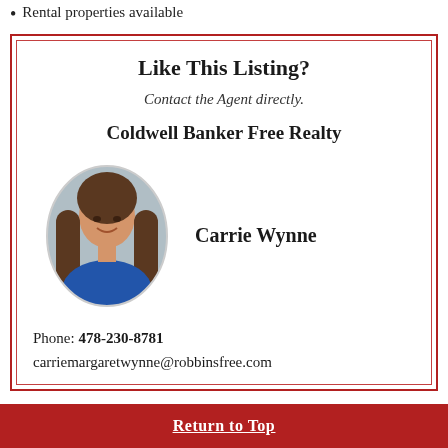Rental properties available
Like This Listing?
Contact the Agent directly.
Coldwell Banker Free Realty
[Figure (photo): Oval headshot photo of Carrie Wynne, a woman with long brown hair wearing a blue top, smiling, against a light gray background.]
Carrie Wynne
Phone: 478-230-8781
carriemargaretwynne@robbinsfree.com
Return to Top